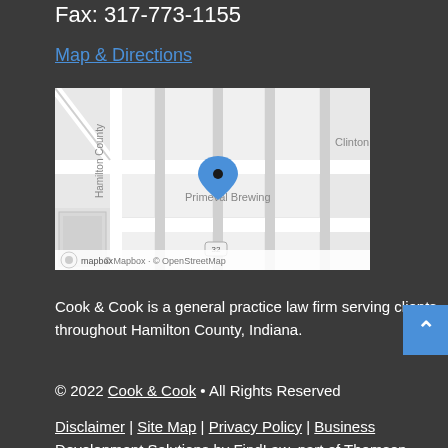Fax: 317-773-1155
Map & Directions
[Figure (map): Mapbox/OpenStreetMap showing location pin at Primeval Brewing area in Hamilton County, Indiana. Street grid visible with label 'Clinton' top right, 'Primeval Brewing' center, 'Hamilton County' on left side, route 32 at bottom. Blue location pin in center. Attribution: © Mapbox · © OpenStreetMap]
Cook & Cook is a general practice law firm serving clients throughout Hamilton County, Indiana.
© 2022 Cook & Cook • All Rights Reserved
Disclaimer | Site Map | Privacy Policy | Business Development Solutions by FindLaw, part of Thomson Reuters